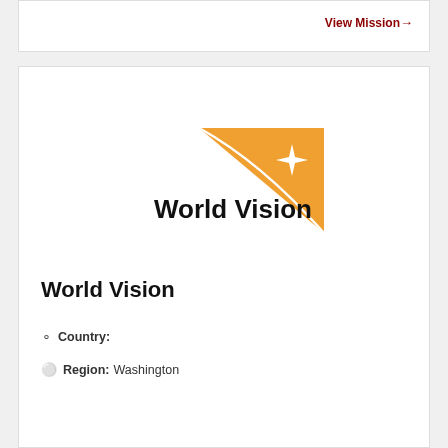View Mission →
[Figure (logo): World Vision logo: orange triangle shape with white four-pointed star, black text 'World Vision']
World Vision
Country:
Region: Washington
Category: Disaster Relief & Emergency Shelters , Food & Clothing Distribution , Nutrition & Health